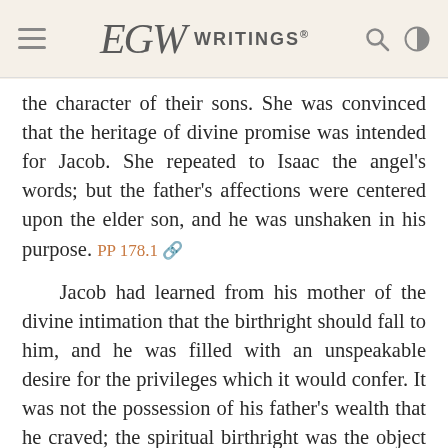EGW WRITINGS®
the character of their sons. She was convinced that the heritage of divine promise was intended for Jacob. She repeated to Isaac the angel's words; but the father's affections were centered upon the elder son, and he was unshaken in his purpose. PP 178.1
Jacob had learned from his mother of the divine intimation that the birthright should fall to him, and he was filled with an unspeakable desire for the privileges which it would confer. It was not the possession of his father's wealth that he craved; the spiritual birthright was the object of his longing. To commune with God as did righteous Abraham, to offer the sacrifice of atonement for his family, to be the progenitor of the chosen people and of the